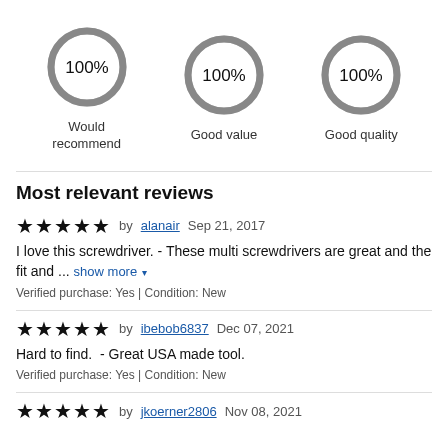[Figure (donut-chart): Three donut/ring charts each showing 100%, labeled Would recommend, Good value, Good quality]
Most relevant reviews
★★★★★ by alanair Sep 21, 2017 — I love this screwdriver. - These multi screwdrivers are great and the fit and ... show more. Verified purchase: Yes | Condition: New
★★★★★ by ibebob6837 Dec 07, 2021 — Hard to find.  - Great USA made tool. Verified purchase: Yes | Condition: New
★★★★★ by jkoerner2806 Nov 08, 2021